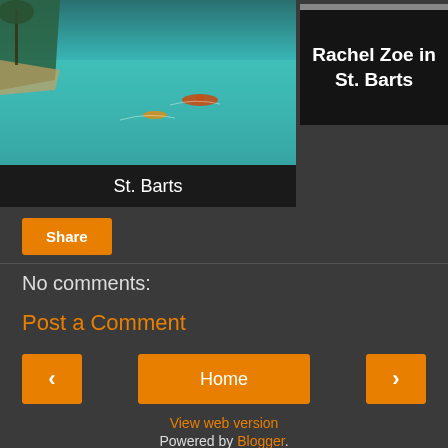[Figure (photo): Aerial view of St. Barts beach with turquoise water and boats]
St. Barts
[Figure (photo): Rachel Zoe in St. Barts thumbnail image]
Rachel Zoe in St. Barts
Share
No comments:
Post a Comment
Home
View web version
Powered by Blogger.